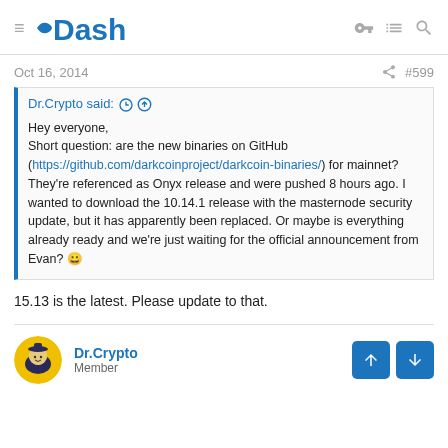Dash
Oct 16, 2014  #599
Dr.Crypto said: ↑

Hey everyone,
Short question: are the new binaries on GitHub (https://github.com/darkcoinproject/darkcoin-binaries/) for mainnet? They're referenced as Onyx release and were pushed 8 hours ago. I wanted to download the 10.14.1 release with the masternode security update, but it has apparently been replaced. Or maybe is everything already ready and we're just waiting for the official announcement from Evan? 😀
15.13 is the latest. Please update to that.
Dr.Crypto
Member